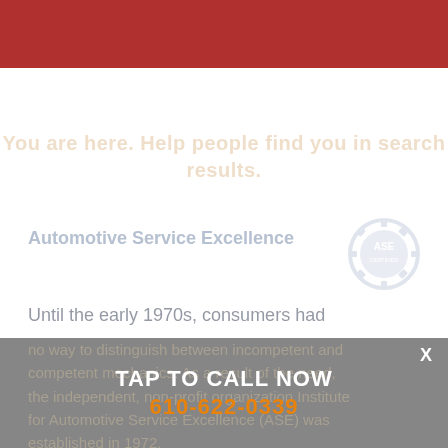You are here. Help people find you in search results.
Automotive Service Excellence
[Figure (logo): ASE Certified logo — gear icon with 'ASE CERTIFIED' text]
Until the early 1970s, consumers had no way to distinguish between incompetent and competent mechanics. As a result of the need, the independent, non-profit organization Institute for Automotive Service Excellence (ASE) was established in 1972.
TAP TO CALL NOW
610-622-0339